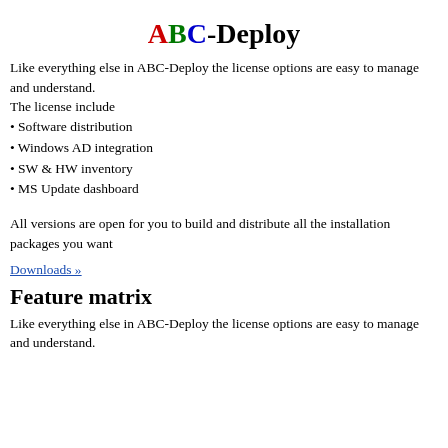ABC-Deploy
Like everything else in ABC-Deploy the license options are easy to manage and understand.
The license include
• Software distribution
• Windows AD integration
• SW & HW inventory
• MS Update dashboard
All versions are open for you to build and distribute all the installation packages you want
Downloads »
Feature matrix
Like everything else in ABC-Deploy the license options are easy to manage and understand.